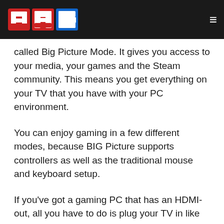AG logo and hamburger menu
called Big Picture Mode. It gives you access to your media, your games and the Steam community. This means you get everything on your TV that you have with your PC environment.
You can enjoy gaming in a few different modes, because BIG Picture supports controllers as well as the traditional mouse and keyboard setup.
If you've got a gaming PC that has an HDMI-out, all you have to do is plug your TV in like you would any other console. From here, you'll need to switch on Big Picture mode.
It's built into Steam and activating is super easy. In the